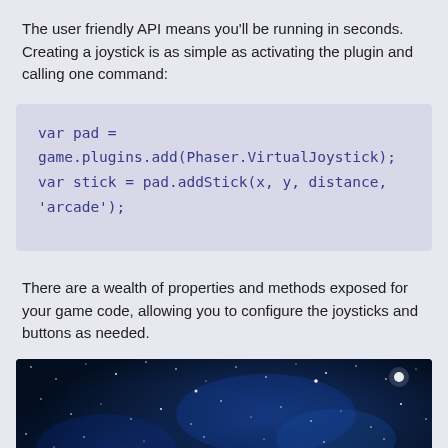The user friendly API means you'll be running in seconds. Creating a joystick is as simple as activating the plugin and calling one command:
There are a wealth of properties and methods exposed for your game code, allowing you to configure the joysticks and buttons as needed.
[Figure (screenshot): Dark blue starfield/space background screenshot showing stars and nebula clouds]